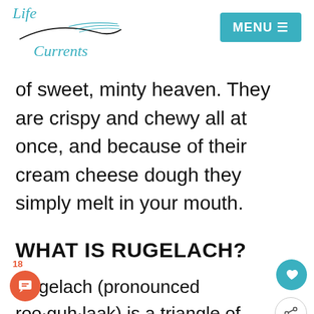Life Currents | MENU
of sweet, minty heaven. They are crispy and chewy all at once, and because of their cream cheese dough they simply melt in your mouth.
WHAT IS RUGELACH?
Rugelach (pronounced roo·guh·laak) is a triangle of cream cheese pastry dough rolled around a filling of nuts, jam, or chocolate. In this case, I've made a